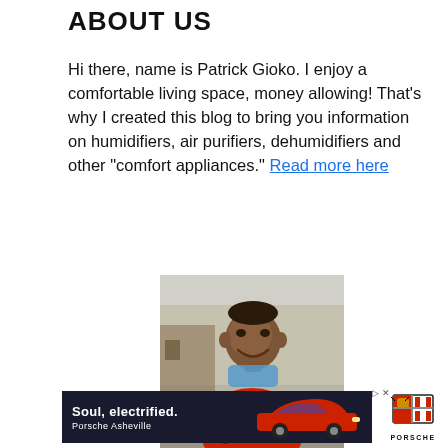ABOUT US
Hi there, name is Patrick Gioko. I enjoy a comfortable living space, money allowing! That's why I created this blog to bring you information on humidifiers, air purifiers, dehumidifiers and other “comfort appliances.” Read more here
[Figure (photo): Photo of a man wearing a red t-shirt and a blue face mask pulled down below his chin, with a backpack, smiling outdoors with trees in the background]
[Figure (other): Advertisement banner for Porsche Asheville with text 'Soul, electrified.' showing a red Porsche car, with Porsche logo on the right side and small navigation arrows]